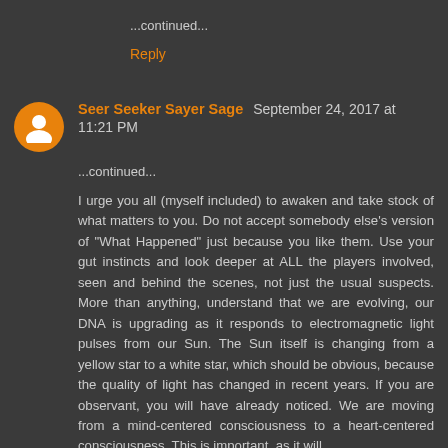...continued...
Reply
Seer Seeker Sayer Sage  September 24, 2017 at 11:21 PM
...continued...
I urge you all (myself included) to awaken and take stock of what matters to you. Do not accept somebody else's version of "What Happened" just because you like them. Use your gut instincts and look deeper at ALL the players involved, seen and behind the scenes, not just the usual suspects. More than anything, understand that we are evolving, our DNA is upgrading as it responds to electromagnetic light pulses from our Sun. The Sun itself is changing from a yellow star to a white star, which should be obvious, because the quality of light has changed in recent years. If you are observant, you will have already noticed. We are moving from a mind-centered consciousness to a heart-centered consciousness. This is important, as it will